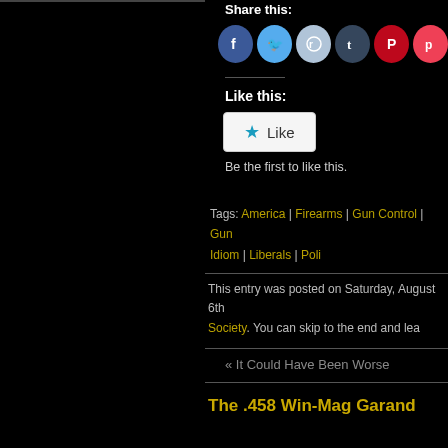Share this:
[Figure (other): Social share icon buttons: Facebook, Twitter, Reddit, Tumblr, Pinterest, Pocket, Email]
Like this:
[Figure (other): WordPress Like button widget]
Be the first to like this.
Tags: America | Firearms | Gun Control | Gun Idiom | Liberals | Poli
This entry was posted on Saturday, August 6th Society. You can skip to the end and lea
« It Could Have Been Worse
The .458 Win-Mag Garand